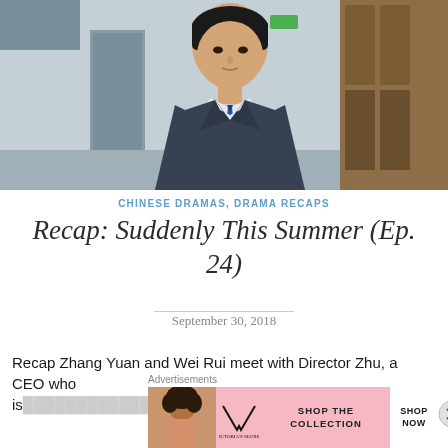[Figure (photo): A man in a dark suit with a blue tie, looking downward, in an interior setting. Still from Chinese drama 'Suddenly This Summer'.]
CHINESE DRAMAS, DRAMA RECAPS
Recap: Suddenly This Summer (Ep. 24)
September 30, 2018
Recap Zhang Yuan and Wei Rui meet with Director Zhu, a CEO who is...
Advertisements
[Figure (photo): Victoria's Secret advertisement banner. Pink background with model on left, VS logo, 'SHOP THE COLLECTION' text, and white 'SHOP NOW' button on the right.]